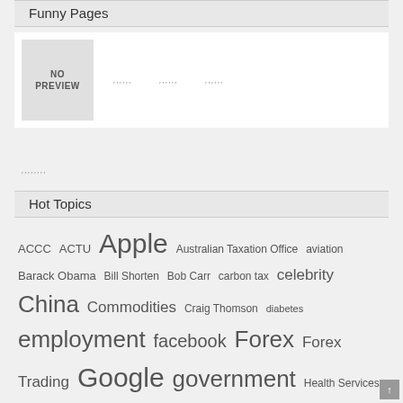Funny Pages
[Figure (other): No Preview image placeholder with three additional image placeholders to the right]
[Figure (other): Small image placeholder below the main row]
Hot Topics
ACCC ACTU Apple Australian Taxation Office aviation Barack Obama Bill Shorten Bob Carr carbon tax celebrity China Commodities Craig Thomson diabetes employment facebook Forex Forex Trading Google government Health Services Union interest rates internet iPad iPhone James Ashby Julia Gillard military Nasdaq North Korea Penny Wong Peter Slipper Reserve Bank Reserve Bank of Australia Russia Social media Steven Smith